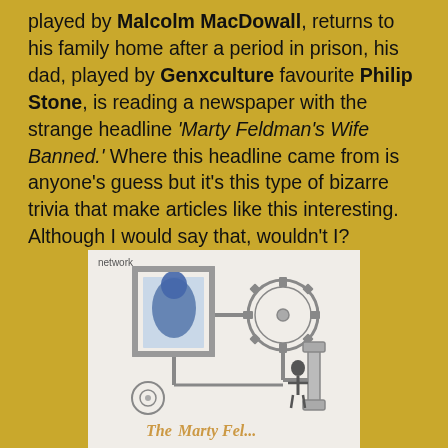played by Malcolm MacDowall, returns to his family home after a period in prison, his dad, played by Genxculture favourite Philip Stone, is reading a newspaper with the strange headline 'Marty Feldman's Wife Banned.' Where this headline came from is anyone's guess but it's this type of bizarre trivia that make articles like this interesting. Although I would say that, wouldn't I?
[Figure (illustration): Illustrated book/DVD cover showing a mechanical contraption with gears, pipes, wheels and a figure. Text 'network' at top and 'THE [MARTY FEL...]' partially visible at bottom.]